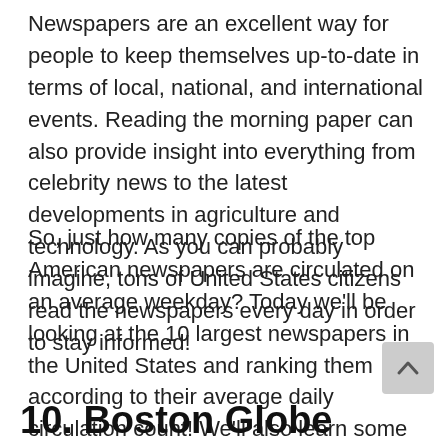Newspapers are an excellent way for people to keep themselves up-to-date in terms of local, national, and international events. Reading the morning paper can also provide insight into everything from celebrity news to the latest developments in agriculture and technology. As you can probably imagine, tons of United States citizens read the newspapers every day in order to stay informed!
So, just how many copies of the top American newspapers are circulated on an average weekday? Today we'll be looking at the 10 largest newspapers in the United States and ranking them according to their average daily circulation count! We'll also learn some interesting facts about what sets each one apart.
10. Boston Globe